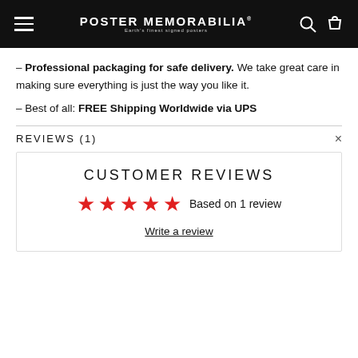POSTER MEMORABILIA
– Professional packaging for safe delivery. We take great care in making sure everything is just the way you like it.
– Best of all: FREE Shipping Worldwide via UPS
REVIEWS (1)
CUSTOMER REVIEWS — Based on 1 review — Write a review